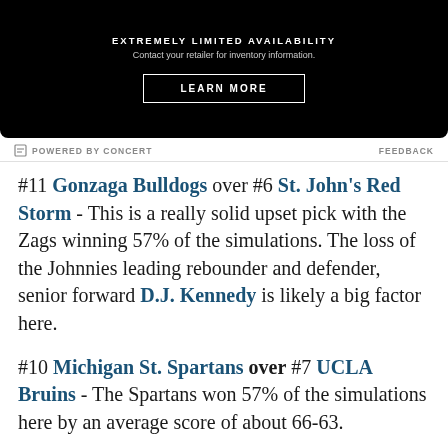[Figure (other): Black advertisement banner with text 'EXTREMELY LIMITED AVAILABILITY', 'Contact your retailer for inventory information.' and a 'LEARN MORE' button]
POWERED BY CONCERT   FEEDBACK
#11 Gonzaga Bulldogs over #6 St. John's Red Storm - This is a really solid upset pick with the Zags winning 57% of the simulations. The loss of the Johnnies leading rebounder and defender, senior forward D.J. Kennedy is likely a big factor here.
#10 Michigan St. Spartans over #7 UCLA Bruins - The Spartans won 57% of the simulations here by an average score of about 66-63.
IN THIS STREAM